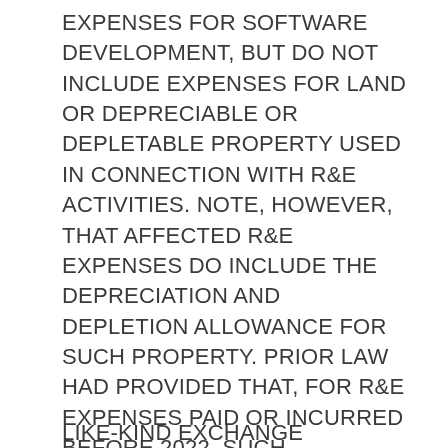EXPENSES FOR SOFTWARE DEVELOPMENT, BUT DO NOT INCLUDE EXPENSES FOR LAND OR DEPRECIABLE OR DEPLETABLE PROPERTY USED IN CONNECTION WITH R&E ACTIVITIES. NOTE, HOWEVER, THAT AFFECTED R&E EXPENSES DO INCLUDE THE DEPRECIATION AND DEPLETION ALLOWANCE FOR SUCH PROPERTY. PRIOR LAW HAD PROVIDED THAT, FOR R&E EXPENSES PAID OR INCURRED BEFORE 2022, SUCH EXPENSES WERE, AT THE TAXPAYER'S ELECTION, CURRENTLY DEDUCTIBLE, CAPITALIZED AND RECOVERED OVER THE SHORTER OF THE USEFUL LIFE OF THE RESEARCH OR 60 MONTHS, OR TEN YEARS.
LIKE-KIND EXCHANGE TREATMENT LIMITED